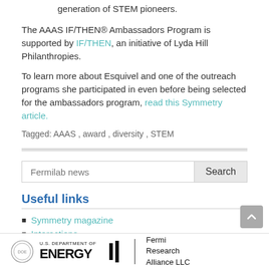generation of STEM pioneers.
The AAAS IF/THEN® Ambassadors Program is supported by IF/THEN, an initiative of Lyda Hill Philanthropies.
To learn more about Esquivel and one of the outreach programs she participated in even before being selected for the ambassadors program, read this Symmetry article.
Tagged: AAAS , award , diversity , STEM
Useful links
Symmetry magazine
Interactions
U.S. DEPARTMENT OF ENERGY | Fermi Research Alliance LLC